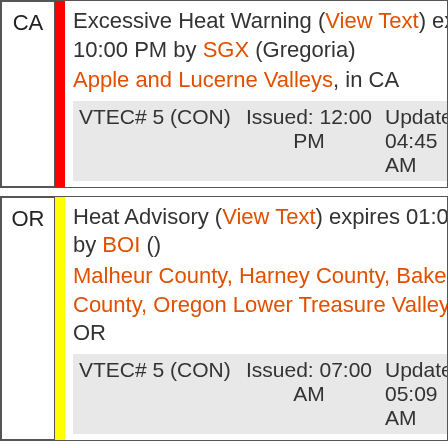CA — Excessive Heat Warning (View Text) expires 10:00 PM by SGX (Gregoria). Apple and Lucerne Valleys, in CA. VTEC# 5 (CON) Issued: 12:00 PM Updated: 04:45 AM
OR — Heat Advisory (View Text) expires 01:00 AM by BOI (). Malheur County, Harney County, Baker County, Oregon Lower Treasure Valley, in OR. VTEC# 5 (CON) Issued: 07:00 AM Updated: 05:09 AM
ID — Heat Advisory (View Text) expires 01:00 AM by BOI (). Southwest Highlands, Western Magic Valley, Camas Prairie, Southern Twin Falls County, Upper Weiser River, Upper Treasure Valley, Lower Treasure Valley, in ID